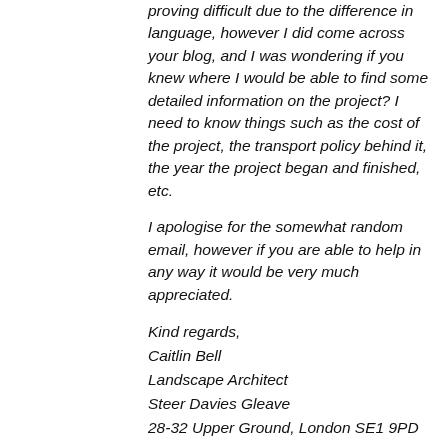proving difficult due to the difference in language, however I did come across your blog, and I was wondering if you knew where I would be able to find some detailed information on the project? I need to know things such as the cost of the project, the transport policy behind it, the year the project began and finished, etc.

I apologise for the somewhat random email, however if you are able to help in any way it would be very much appreciated.

Kind regards,
Caitlin Bell
Landscape Architect
Steer Davies Gleave
28-32 Upper Ground, London SE1 9PD
All polite enough, but the angle was obvious. This was going to turn into another opportunity for me to be able to "help" someone who is paid for their work.